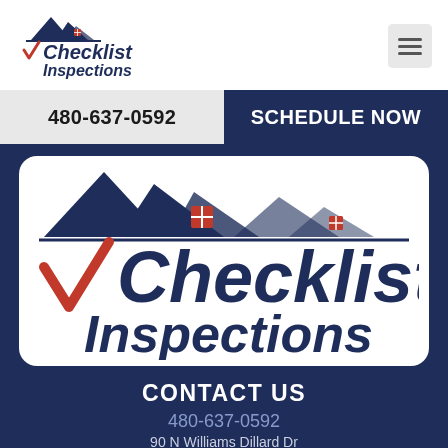[Figure (logo): Checklist Inspections logo in header - small version with house rooftop icon and red checkmark]
[Figure (other): Hamburger menu icon (three horizontal lines in gray box)]
480-637-0592
SCHEDULE NOW
[Figure (logo): Large Checklist Inspections logo on white rounded card with dark navy house rooftop silhouette and red checkmark, text reads Checklist Inspections in italic bold dark navy]
CONTACT US
480-637-0592
90 N Williams Dillard Dr